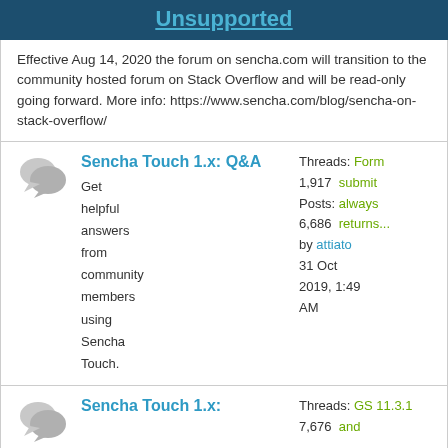Unsupported
Effective Aug 14, 2020 the forum on sencha.com will transition to the community hosted forum on Stack Overflow and will be read-only going forward. More info: https://www.sencha.com/blog/sencha-on-stack-overflow/
Sencha Touch 1.x: Q&A
Threads: 1,917
Posts: 6,686
Get helpful answers from community members using Sencha Touch.
Form submit always returns... by attiato 31 Oct 2019, 1:49 AM
Sencha Touch 1.x:
Threads: 7,676
GS 11.3.1 and